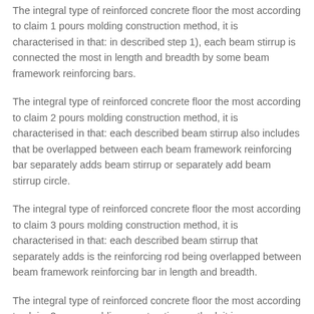The integral type of reinforced concrete floor the most according to claim 1 pours molding construction method, it is characterised in that: in described step 1), each beam stirrup is connected the most in length and breadth by some beam framework reinforcing bars.
The integral type of reinforced concrete floor the most according to claim 2 pours molding construction method, it is characterised in that: each described beam stirrup also includes that be overlapped between each beam framework reinforcing bar separately adds beam stirrup or separately add beam stirrup circle.
The integral type of reinforced concrete floor the most according to claim 3 pours molding construction method, it is characterised in that: each described beam stirrup that separately adds is the reinforcing rod being overlapped between beam framework reinforcing bar in length and breadth.
The integral type of reinforced concrete floor the most according to claim 3 pours molding construction method, it is characterized in that: the described beam stirrup circle that separately adds is a steel ring bent by reinforcing bar